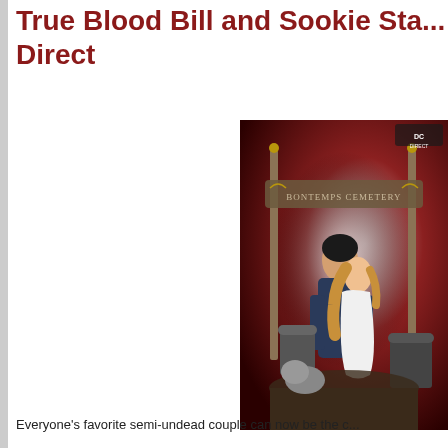True Blood Bill and Sookie Sta... Direct
[Figure (photo): A collectible statue/figurine set depicting True Blood characters Bill and Sookie embracing in a cemetery setting (Bon Temps Cemetery gate visible in background), with a DC Direct logo in upper right. Dark red atmospheric background.]
Everyone's favorite semi-undead couple can now be the c...